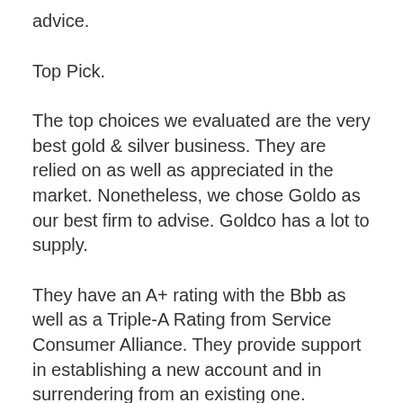advice.
Top Pick.
The top choices we evaluated are the very best gold & silver business. They are relied on as well as appreciated in the market. Nonetheless, we chose Goldo as our best firm to advise. Goldco has a lot to supply.
They have an A+ rating with the Bbb as well as a Triple-A Rating from Service Consumer Alliance. They provide support in establishing a new account and in surrendering from an existing one.
Goldco also offers an outstanding selection of IRS-approved silver and gold coins as well